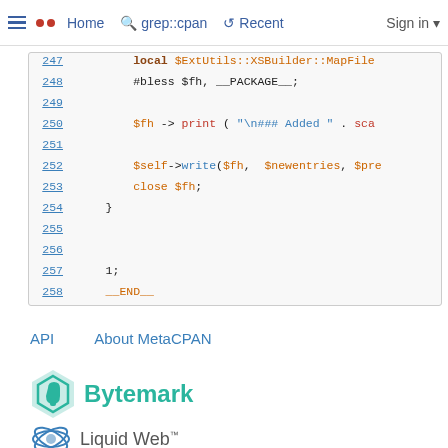Home | grep::cpan | Recent | Sign in
[Figure (screenshot): Syntax-highlighted Perl source code viewer showing lines 247–258. Line 247: local $ExtUtils::XSBuilder::MapFile. Line 248: #bless $fh, __PACKAGE__;. Line 249: (blank). Line 250: $fh -> print ( "\n### Added " . sca. Line 251: (blank). Line 252: $self->write($fh, $newentries, $pre. Line 253: close $fh;. Line 254: }. Lines 255-256: (blank). Line 257: 1;. Line 258: __END__]
API   About MetaCPAN
[Figure (logo): Bytemark logo - teal diamond/flask icon with text 'Bytemark' in teal]
[Figure (logo): Liquid Web logo - blue orbital icon with text 'Liquid Web' with trademark symbol]